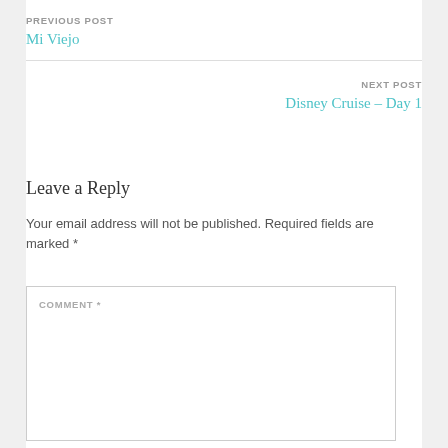PREVIOUS POST
Mi Viejo
NEXT POST
Disney Cruise – Day 1
Leave a Reply
Your email address will not be published. Required fields are marked *
COMMENT *